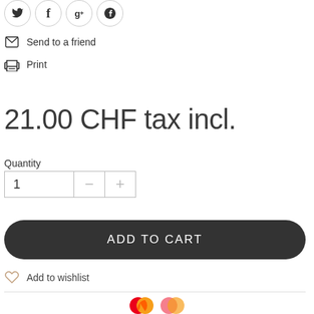[Figure (other): Social share icons: Twitter, Facebook, Google+, Pinterest as circular outlined buttons]
Send to a friend
Print
21.00 CHF tax incl.
Quantity
[Figure (other): Quantity selector with input field showing 1, minus button, and plus button]
ADD TO CART
Add to wishlist
[Figure (other): Payment method icons: red and orange circles (Mastercard logo partial)]